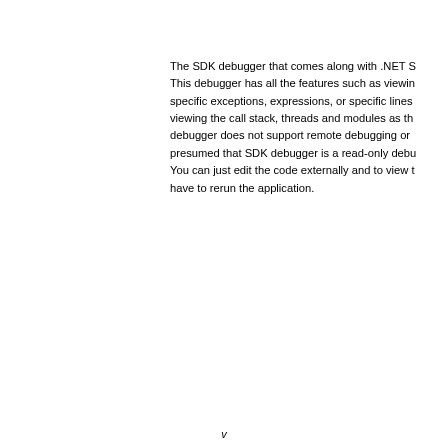The SDK debugger that comes along with .NET SDK. This debugger has all the features such as viewing specific exceptions, expressions, or specific lines, viewing the call stack, threads and modules as the debugger does not support remote debugging or presumed that SDK debugger is a read-only debugger. You can just edit the code externally and to view the changes, you have to rerun the application.
v